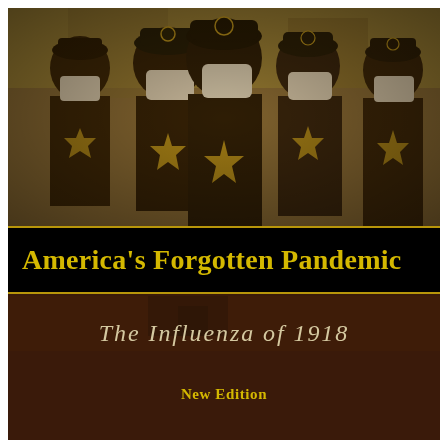[Figure (photo): Sepia-toned historical photograph of police officers or officials wearing face masks (white surgical-style masks), dressed in dark uniforms with badges and rounded hats, standing together. The image has a yellow-brown sepia tone typical of early 20th century photography.]
America's Forgotten Pandemic
The Influenza of 1918
New Edition